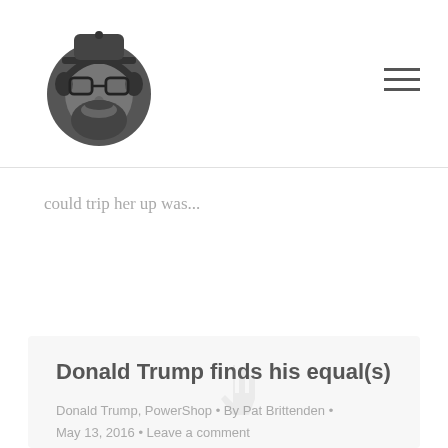[Figure (logo): Circular logo of a bearded man wearing glasses and headphones, dark grey illustration style]
could trip her up was...
Donald Trump finds his equal(s)
Donald Trump, PowerShop • By Pat Brittenden • May 13, 2016 • Leave a comment
It seems Powershop has found the equal(s) of Donald Trump from within, what appears to be, the NZ Pre-School community [youtube https://www.youtube.com/watch?v=pCy9A-cD_H4&w=560&h=315]  Ironically it's not that far from the truth as the study, 'A Readability Analysis of Campaign Speeches from the 2016 US